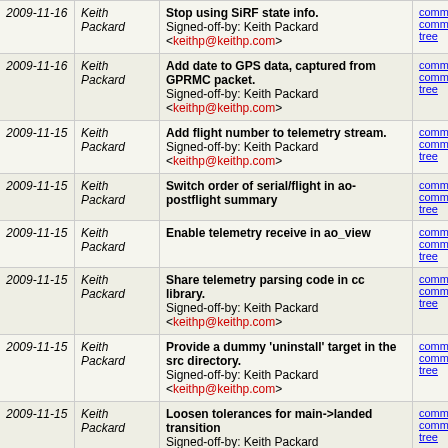| Date | Author | Message | Links |
| --- | --- | --- | --- |
| 2009-11-16 | Keith Packard | Stop using SiRF state info.
Signed-off-by: Keith Packard <keithp@keithp.com> | commit | commitdiff | tree |
| 2009-11-16 | Keith Packard | Add date to GPS data, captured from GPRMC packet.
Signed-off-by: Keith Packard <keithp@keithp.com> | commit | commitdiff | tree |
| 2009-11-15 | Keith Packard | Add flight number to telemetry stream.
Signed-off-by: Keith Packard <keithp@keithp.com> | commit | commitdiff | tree |
| 2009-11-15 | Keith Packard | Switch order of serial/flight in ao-postflight summary | commit | commitdiff | tree |
| 2009-11-15 | Keith Packard | Enable telemetry receive in ao_view | commit | commitdiff | tree |
| 2009-11-15 | Keith Packard | Share telemetry parsing code in cc library.
Signed-off-by: Keith Packard <keithp@keithp.com> | commit | commitdiff | tree |
| 2009-11-15 | Keith Packard | Provide a dummy 'uninstall' target in the src directory.
Signed-off-by: Keith Packard <keithp@keithp.com> | commit | commitdiff | tree |
| 2009-11-15 | Keith Packard | Loosen tolerances for main->landed transition
Signed-off-by: Keith Packard <keithp@keithp.com> | commit | commitdiff | tree |